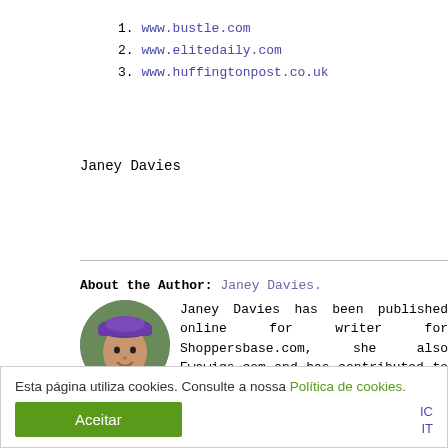1. www.bustle.com
2. www.elitedaily.com
3. www.huffingtonpost.co.uk
Janey Davies
About the Author: Janey Davies. Janey Davies has been published online for writer for Shoppersbase.com, she also Ewawigs.com and has contributed to inside. Degree in Psychology and her passions inc popular science and politics. When she is relaxing she like fiction and listen to Muse.
Esta página utiliza cookies. Consulte a nossa Política de cookies.